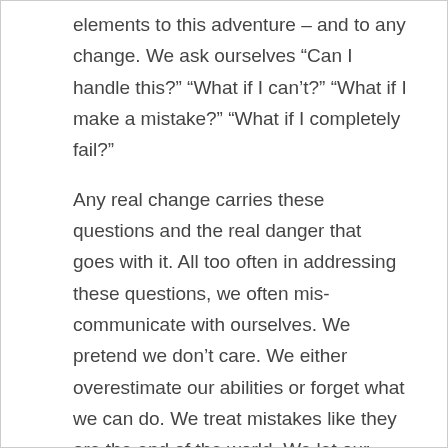elements to this adventure – and to any change. We ask ourselves “Can I handle this?” “What if I can’t?” “What if I make a mistake?” “What if I completely fail?”
Any real change carries these questions and the real danger that goes with it. All too often in addressing these questions, we often mis-communicate with ourselves. We pretend we don’t care. We either overestimate our abilities or forget what we can do. We treat mistakes like they are the end of the world. We let our fear overshadow the truth.
And the truth was, every one of us made a ton of mistakes on the river. We paddled left when right would have been more effective. We dug in when a